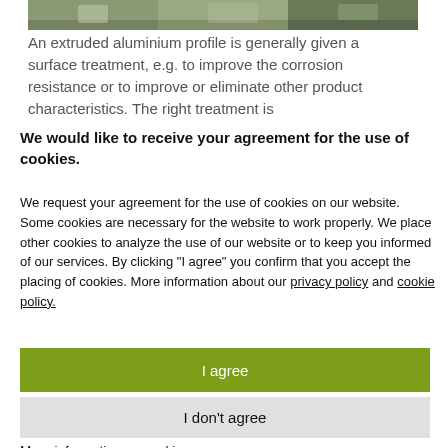[Figure (photo): Partial view of an aluminium extrusion industrial facility, top strip image]
An extruded aluminium profile is generally given a surface treatment, e.g. to improve the corrosion resistance or to improve or eliminate other product characteristics. The right treatment is
We would like to receive your agreement for the use of cookies.
We request your agreement for the use of cookies on our website. Some cookies are necessary for the website to work properly. We place other cookies to analyze the use of our website or to keep you informed of our services. By clicking "I agree" you confirm that you accept the placing of cookies. More information about our privacy policy and cookie policy.
I agree
I don't agree
More information on cookies